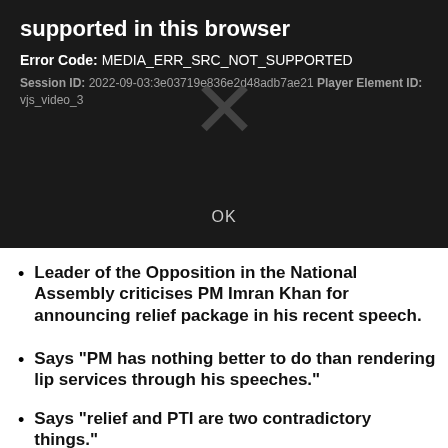[Figure (screenshot): Video player error dialog on a dark background showing error code MEDIA_ERR_SRC_NOT_SUPPORTED with session ID and player element ID, a large X mark in the center, and an OK button at the bottom.]
Leader of the Opposition in the National Assembly criticises PM Imran Khan for announcing relief package in his recent speech.
Says "PM has nothing better to do than rendering lip services through his speeches."
Says "relief and PTI are two contradictory things."